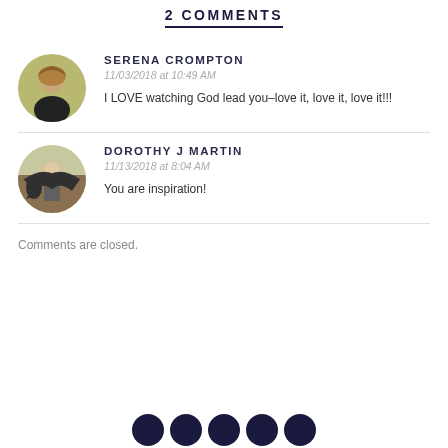2 COMMENTS
SERENA CROMPTON
11/03/2018 at 10:49 AM
I LOVE watching God lead you–love it, love it, love it!!!
DOROTHY J MARTIN
11/13/2018 at 8:04 AM
You are inspiration!
Comments are closed.